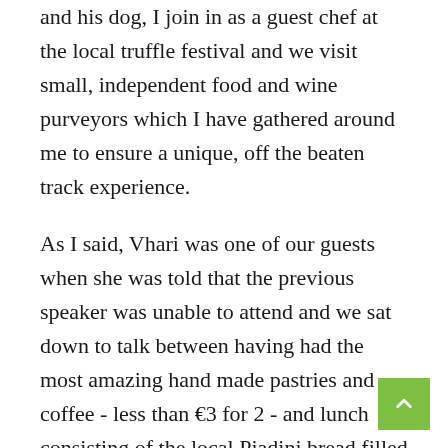and his dog, I join in as a guest chef at the local truffle festival and we visit small, independent food and wine purveyors which I have gathered around me to ensure a unique, off the beaten track experience.
As I said, Vhari was one of our guests when she was told that the previous speaker was unable to attend and we sat down to talk between having had the most amazing hand made pastries and coffee - less than €3 for 2 - and lunch consisting of the local Piadini bread filled with fresh rocket and regional mountain ham - NOT Parma ham, of course, as that is produced miles away and Le Marche makes its own superb air dried ham, thank you very much. Our guests who travel with us on our